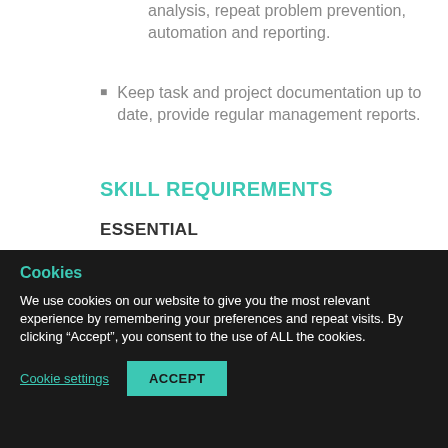analysis, repeat problem prevention, automation and reporting.
Keep task and project documentation up to date, provide regular management reports.
SKILL REQUIREMENTS
ESSENTIAL
Cookies
We use cookies on our website to give you the most relevant experience by remembering your preferences and repeat visits. By clicking “Accept”, you consent to the use of ALL the cookies.
Cookie settings   ACCEPT